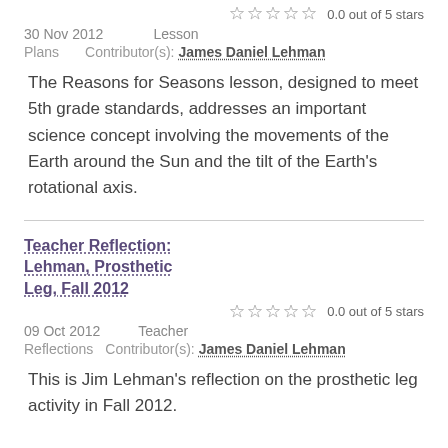0.0 out of 5 stars
30 Nov 2012    Lesson Plans    Contributor(s): James Daniel Lehman
The Reasons for Seasons lesson, designed to meet 5th grade standards, addresses an important science concept involving the movements of the Earth around the Sun and the tilt of the Earth's rotational axis.
Teacher Reflection: Lehman, Prosthetic Leg, Fall 2012
0.0 out of 5 stars
09 Oct 2012    Teacher Reflections    Contributor(s): James Daniel Lehman
This is Jim Lehman's reflection on the prosthetic leg activity in Fall 2012.